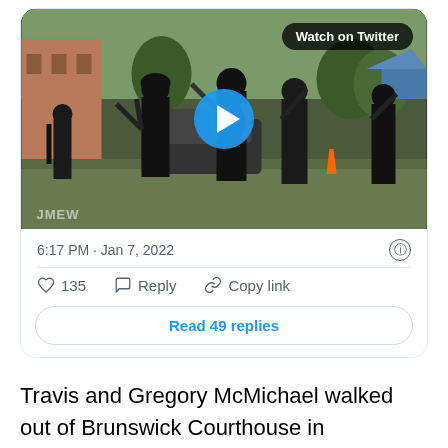[Figure (screenshot): Twitter/X embedded tweet card showing a video thumbnail of armed individuals in black gear standing outdoors. A blue play button is centered on the image. A 'Watch on Twitter' badge is in the top-right corner. The tweet timestamp shows 6:17 PM · Jan 7, 2022. Actions show 135 likes, Reply, and Copy link options, and a 'Read 49 replies' button.]
Travis and Gregory McMichael walked out of Brunswick Courthouse in handcuffed after being sentenced to life in prison without the possibility of parole for murder of Ahmaud Arbery.